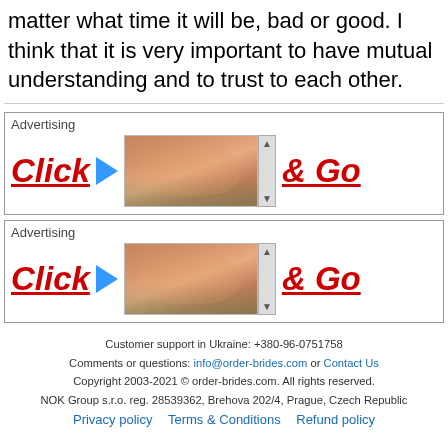matter what time it will be, bad or good. I think that it is very important to have mutual understanding and to trust to each other.
[Figure (other): Advertising banner with 'Click' text and arrow, image of woman in bikini, and '& Go' text cutoff]
[Figure (other): Second advertising banner identical to first with 'Click' text and arrow, image of woman in bikini, and '& Go' text cutoff]
Customer support in Ukraine: +380-96-0751758
Comments or questions: info@order-brides.com or Contact Us
Copyright 2003-2021 © order-brides.com. All rights reserved.
NOK Group s.r.o. reg. 28539362, Brehova 202/4, Prague, Czech Republic
Privacy policy   Terms & Conditions   Refund policy